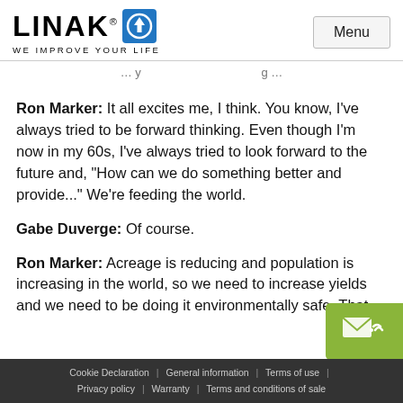LINAK® [logo icon] WE IMPROVE YOUR LIFE | Menu
Ron Marker: It all excites me, I think. You know, I've always tried to be forward thinking. Even though I'm now in my 60s, I've always tried to look forward to the future and, "How can we do something better and provide..." We're feeding the world.
Gabe Duverge: Of course.
Ron Marker: Acreage is reducing and population is increasing in the world, so we need to increase yields and we need to be doing it environmentally safe. That
Cookie Declaration | General information | Terms of use | Privacy policy | Warranty | Terms and conditions of sale